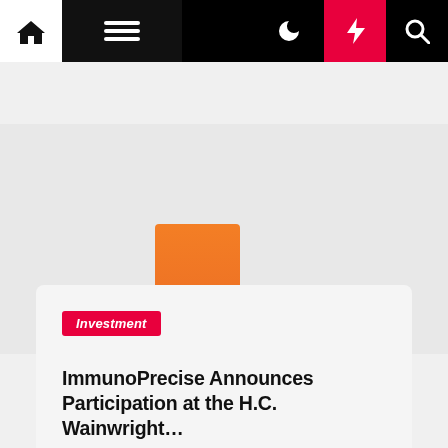Navigation bar with home, menu, dark mode, breaking news, and search icons
[Figure (logo): Blurred orange bar chart logo image in the header area of the website]
Investment
ImmunoPrecise Announces Participation at the H.C. Wainwright…
Christel Deskins  2 years ago